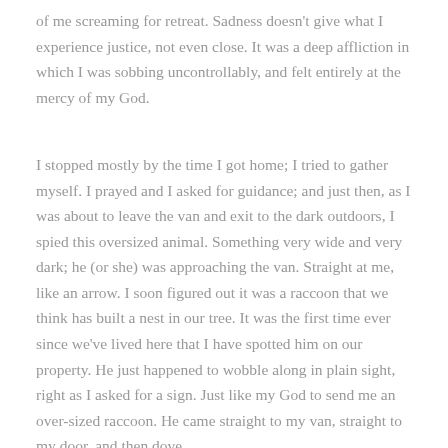of me screaming for retreat. Sadness doesn't give what I experience justice, not even close. It was a deep affliction in which I was sobbing uncontrollably, and felt entirely at the mercy of my God.
I stopped mostly by the time I got home; I tried to gather myself. I prayed and I asked for guidance; and just then, as I was about to leave the van and exit to the dark outdoors, I spied this oversized animal. Something very wide and very dark; he (or she) was approaching the van. Straight at me, like an arrow. I soon figured out it was a raccoon that we think has built a nest in our tree. It was the first time ever since we've lived here that I have spotted him on our property. He just happened to wobble along in plain sight, right as I asked for a sign. Just like my God to send me an over-sized raccoon. He came straight to my van, straight to my door, and then dove